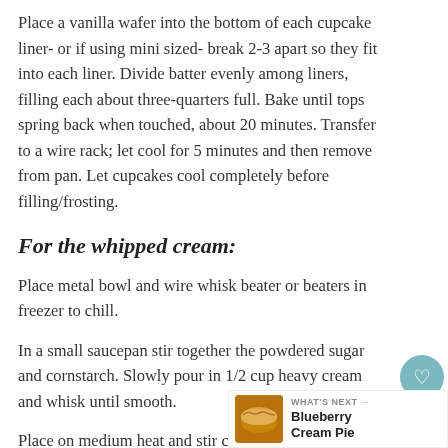Place a vanilla wafer into the bottom of each cupcake liner- or if using mini sized- break 2-3 apart so they fit into each liner. Divide batter evenly among liners, filling each about three-quarters full. Bake until tops spring back when touched, about 20 minutes. Transfer to a wire rack; let cool for 5 minutes and then remove from pan. Let cupcakes cool completely before filling/frosting.
For the whipped cream:
Place metal bowl and wire whisk beater or beaters in freezer to chill.
In a small saucepan stir together the powdered sugar and cornstarch. Slowly pour in 1/2 cup heavy cream and whisk until smooth.
Place on medium heat and stir constantly un thickens and almost comes to a boil. (it will look pudding-like) Remove from heat, transfer to a small
[Figure (other): What's Next banner with a circular pie image thumbnail and text 'WHAT'S NEXT → Blueberry Cream Pie']